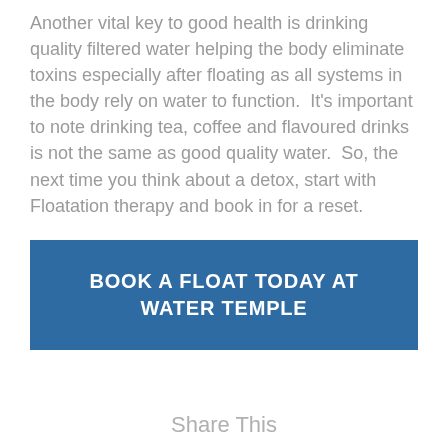Another vital key to good health is drinking quality filtered water helping the body eliminate toxins especially after floating as all systems in the body rely on water to function.  It's important to note drinking tea, coffee and flavoured drinks is not the same as good quality water.  So, the next time you think about a detox, start with Floatation therapy and book in for a reset.
BOOK A FLOAT TODAY AT WATER TEMPLE
Share This